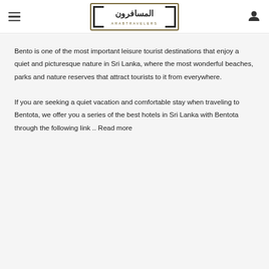[Figure (logo): ArabTravelers logo with Arabic text and English subtitle ARABTRAVELERS]
Bento is one of the most important leisure tourist destinations that enjoy a quiet and picturesque nature in Sri Lanka, where the most wonderful beaches, parks and nature reserves that attract tourists to it from everywhere.

If you are seeking a quiet vacation and comfortable stay when traveling to Bentota, we offer you a series of the best hotels in Sri Lanka with Bentota through the following link .. Read more